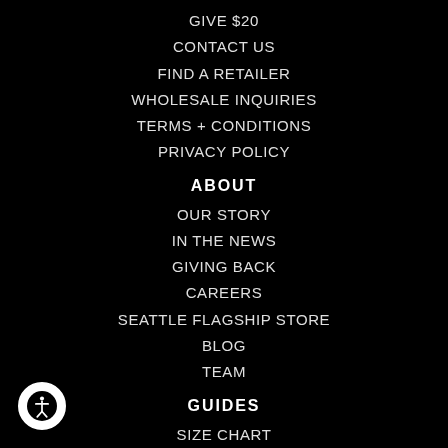GIVE $20
CONTACT US
FIND A RETAILER
WHOLESALE INQUIRIES
TERMS + CONDITIONS
PRIVACY POLICY
ABOUT
OUR STORY
IN THE NEWS
GIVING BACK
CAREERS
SEATTLE FLAGSHIP STORE
BLOG
TEAM
GUIDES
SIZE CHART